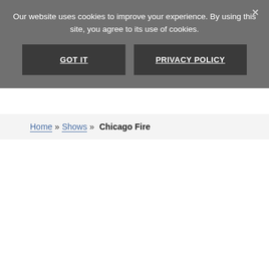Our website uses cookies to improve your experience. By using this site, you agree to its use of cookies.
GOT IT
PRIVACY POLICY
Home » Shows » Chicago Fire